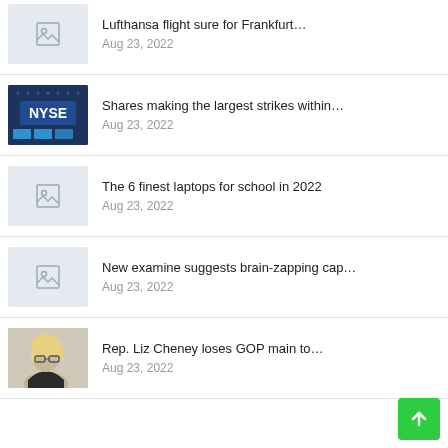Lufthansa flight sure for Frankfurt…
Aug 23, 2022
Shares making the largest strikes within…
Aug 23, 2022
The 6 finest laptops for school in 2022
Aug 23, 2022
New examine suggests brain-zapping cap…
Aug 23, 2022
Rep. Liz Cheney loses GOP main to…
Aug 23, 2022